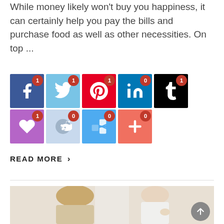While money likely won't buy you happiness, it can certainly help you pay the bills and purchase food as well as other necessities. On top ...
[Figure (infographic): Social sharing buttons grid: Row 1: Facebook (badge 1), Twitter (badge 1), Pinterest (badge 1), LinkedIn (badge 0), Tumblr (badge 1). Row 2: Love/Sumo (badge 1), Reddit (badge 0), ShareThis (badge 0), Google+ / Add (badge 0).]
READ MORE ›
[Figure (photo): Photo of two women, one with blonde hair seen from behind, another in white top holding a cup, white background, consultation or meeting scene.]